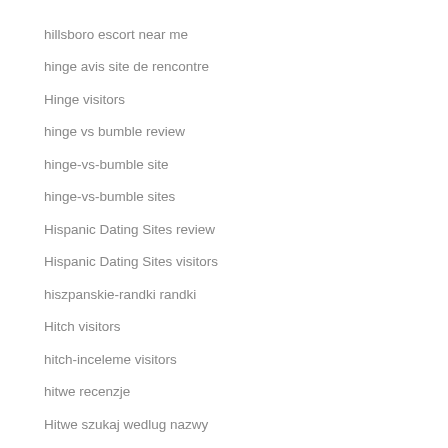hillsboro escort near me
hinge avis site de rencontre
Hinge visitors
hinge vs bumble review
hinge-vs-bumble site
hinge-vs-bumble sites
Hispanic Dating Sites review
Hispanic Dating Sites visitors
hiszpanskie-randki randki
Hitch visitors
hitch-inceleme visitors
hitwe recenzje
Hitwe szukaj wedlug nazwy
hollywood eros escort